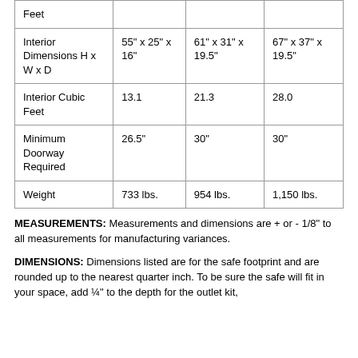|  | Col1 | Col2 | Col3 |
| --- | --- | --- | --- |
| Feet |  |  |  |
| Interior Dimensions H x W x D | 55" x 25" x 16" | 61" x 31" x 19.5" | 67" x 37" x 19.5" |
| Interior Cubic Feet | 13.1 | 21.3 | 28.0 |
| Minimum Doorway Required | 26.5" | 30" | 30" |
| Weight | 733 lbs. | 954 lbs. | 1,150 lbs. |
MEASUREMENTS: Measurements and dimensions are + or - 1/8" to all measurements for manufacturing variances.
DIMENSIONS: Dimensions listed are for the safe footprint and are rounded up to the nearest quarter inch. To be sure the safe will fit in your space, add ¼" to the depth for the outlet kit,